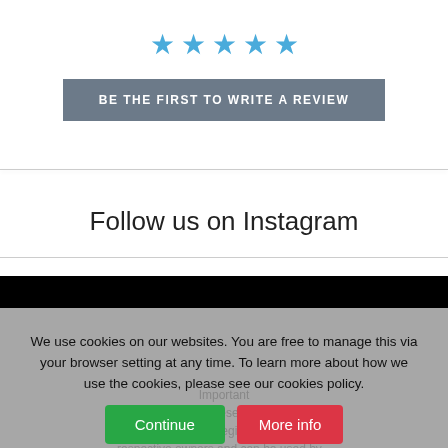[Figure (other): Five blue star rating icons displayed in a row]
BE THE FIRST TO WRITE A REVIEW
Follow us on Instagram
We use cookies on our websites. You are free to manage this via your browser setting at any time. To learn more about how we use the cookies, please see our cookies policy.
Important
All trademarks represented by the logos in the shop are registered by their respective owners and can be used by...
Continue
More info